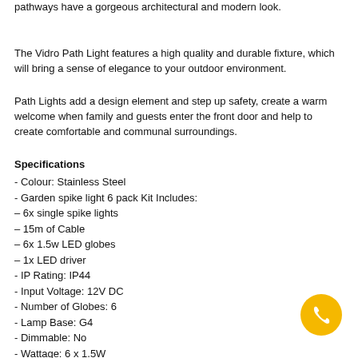pathways have a gorgeous architectural and modern look.
The Vidro Path Light features a high quality and durable fixture, which will bring a sense of elegance to your outdoor environment.
Path Lights add a design element and step up safety, create a warm welcome when family and guests enter the front door and help to create comfortable and communal surroundings.
Specifications
- Colour: Stainless Steel
- Garden spike light 6 pack Kit Includes:
– 6x single spike lights
– 15m of Cable
– 6x 1.5w LED globes
– 1x LED driver
- IP Rating: IP44
- Input Voltage: 12V DC
- Number of Globes: 6
- Lamp Base: G4
- Dimmable: No
- Wattage: 6 x 1.5W
- Lamp Colour Temperature: 3000K (Warm White)